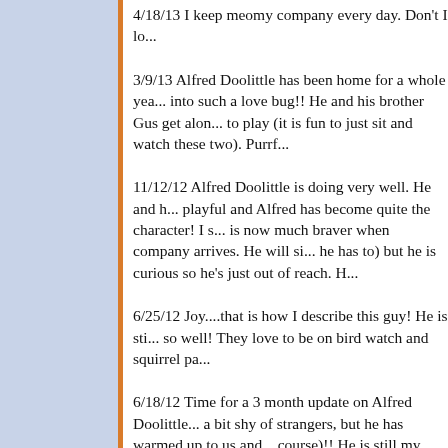4/18/13 I keep meomy company every day. Don't I lo...
3/9/13 Alfred Doolittle has been home for a whole yea... into such a love bug!! He and his brother Gus get alon... to play (it is fun to just sit and watch these two). Purrf...
11/12/12 Alfred Doolittle is doing very well. He and h... playful and Alfred has become quite the character! I s... is now much braver when company arrives. He will si... he has to) but he is curious so he's just out of reach. H...
6/25/12 Joy....that is how I describe this guy! He is sti... so well! They love to be on bird watch and squirrel pa...
6/18/12 Time for a 3 month update on Alfred Doolittle... a bit shy of strangers, but he has warmed up to us and... course)!! He is still my â€˜clown in a cat suitâ€™ and... could not have asked for a better pair of boys!! They a...
4/27/12 My clown in a cat suit! This guy is such a clo... loving. He still gets spooked by loud noises and some...